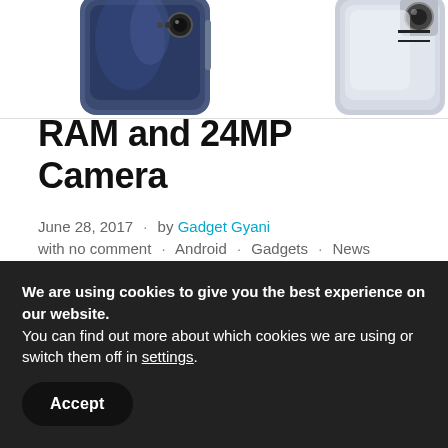[Figure (photo): Two Nokia Edge 2017 smartphone renders shown from the back, one dark colored on the left and one light/silver colored on the right, partially cropped at the top of the page.]
Nokia Edge 2017 Release Date, 6GB RAM and 24MP Camera
June 28, 2017  ·  by Gadget Gyani
with no comment  ·  Android  ·  Gadgets  ·  News
We are using cookies to give you the best experience on our website.
You can find out more about which cookies we are using or switch them off in settings.
Accept